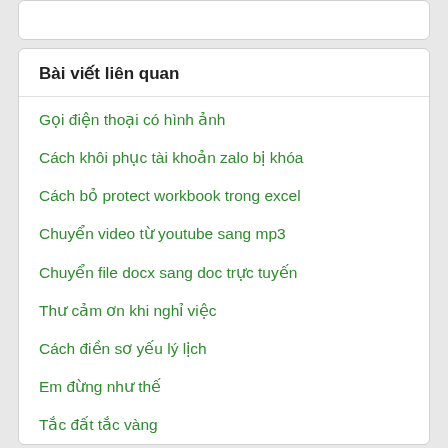Bài viết liên quan
Gọi điện thoại có hình ảnh
Cách khôi phục tài khoản zalo bị khóa
Cách bỏ protect workbook trong excel
Chuyển video từ youtube sang mp3
Chuyển file docx sang doc trực tuyến
Thư cảm ơn khi nghỉ việc
Cách điền sơ yếu lý lịch
Em đừng như thế
Tắc đất tắc vàng